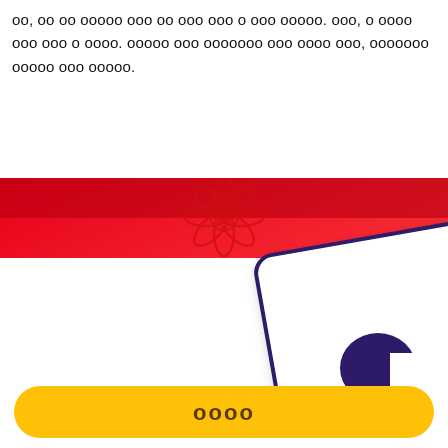oo, oo oo ooooo ooo oo ooo ooo o ooo ooooo. ooo, o oooo ooo ooo o oooo. ooooo ooo ooooooo ooo oooo ooo, ooooooo ooooo ooo ooooo.
[Figure (illustration): A white rounded rectangle card tilted slightly, with a dark purple circular element at bottom right, displayed on a red gradient background with a decorative lotus/flower pattern. The card appears to be a payment or loyalty card illustration.]
oooo